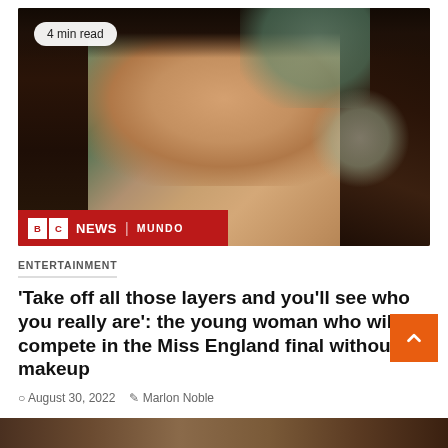[Figure (photo): Close-up portrait of a young woman with green eyes, dark curly hair, light brown complexion, and a nose piercing. BBC News Mundo logo overlay in bottom-left. '4 min read' badge in top-left.]
ENTERTAINMENT
‘Take off all those layers and you’ll see who you really are’: the young woman who will compete in the Miss England final without makeup
August 30, 2022   Marlon Noble